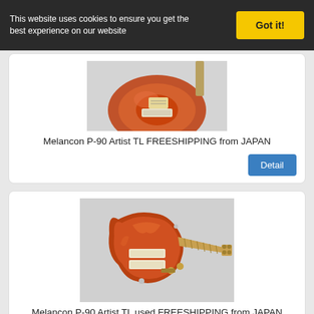This website uses cookies to ensure you get the best experience on our website
[Figure (photo): Melancon P-90 Artist TL electric guitar with sunburst finish, partial view from above]
Melancon P-90 Artist TL FREESHIPPING from JAPAN
[Figure (photo): Melancon P-90 Artist TL electric guitar with orange-red sunburst finish, full body view with neck extending to the right]
Melancon P-90 Artist TL used FREESHIPPING from JAPAN
[Figure (photo): Partial view of a dark wooden guitar or instrument at the bottom of the page]